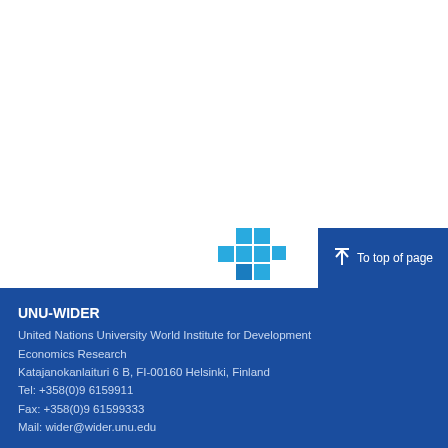[Figure (logo): UNU-WIDER pixel/block logo made of blue squares]
↑  To top of page
UNU-WIDER
United Nations University World Institute for Development Economics Research
Katajanokanlaituri 6 B, FI-00160 Helsinki, Finland
Tel: +358(0)9 6159911
Fax: +358(0)9 61599333
Mail: wider@wider.unu.edu